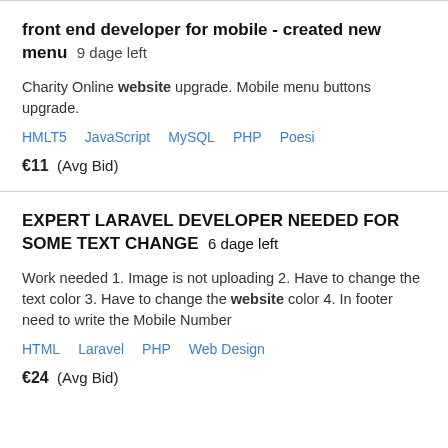front end developer for mobile - created new menu  9 dage left
Charity Online website upgrade. Mobile menu buttons upgrade.
HMLT5   JavaScript   MySQL   PHP   Poesi
€11  (Avg Bid)
EXPERT LARAVEL DEVELOPER NEEDED FOR SOME TEXT CHANGE  6 dage left
Work needed 1. Image is not uploading 2. Have to change the text color 3. Have to change the website color 4. In footer need to write the Mobile Number
HTML   Laravel   PHP   Web Design
€24  (Avg Bid)